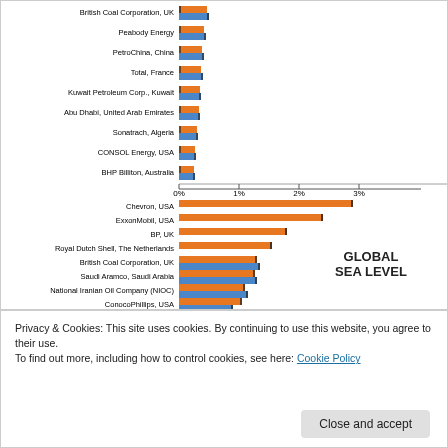[Figure (grouped-bar-chart): Global Sea Level]
Privacy & Cookies: This site uses cookies. By continuing to use this website, you agree to their use.
To find out more, including how to control cookies, see here: Cookie Policy
Close and accept